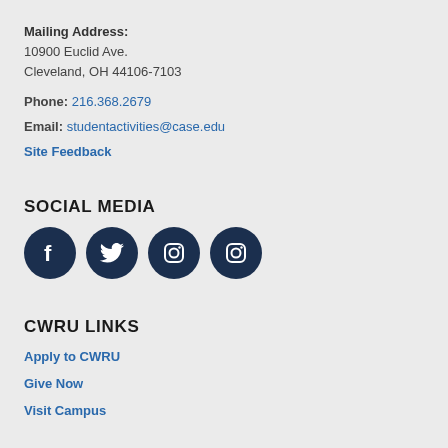Mailing Address:
10900 Euclid Ave.
Cleveland, OH 44106-7103
Phone: 216.368.2679
Email: studentactivities@case.edu
Site Feedback
SOCIAL MEDIA
[Figure (illustration): Four social media icons (Facebook, Twitter, Instagram, Instagram) as white icons on dark navy circular backgrounds]
CWRU LINKS
Apply to CWRU
Give Now
Visit Campus